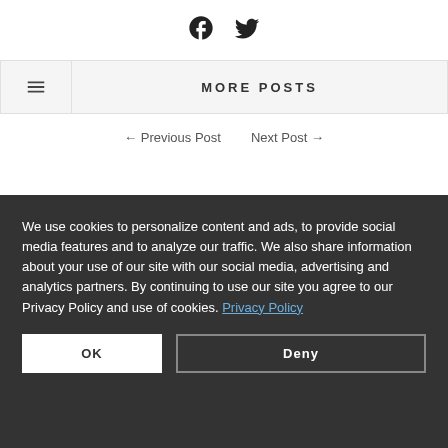[Figure (other): Facebook and Twitter social media icons at the top center of the page]
MORE POSTS
← Previous Post    Next Post →
We use cookies to personalize content and ads, to provide social media features and to analyze our traffic. We also share information about your use of our site with our social media, advertising and analytics partners. By continuing to use our site you agree to our Privacy Policy and use of cookies. Privacy Policy
OK    Deny